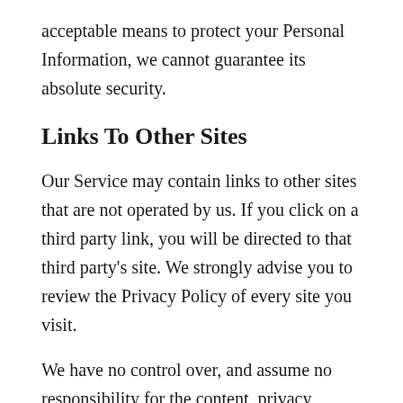acceptable means to protect your Personal Information, we cannot guarantee its absolute security.
Links To Other Sites
Our Service may contain links to other sites that are not operated by us. If you click on a third party link, you will be directed to that third party's site. We strongly advise you to review the Privacy Policy of every site you visit.
We have no control over, and assume no responsibility for the content, privacy policies or practices of any third party sites or services.